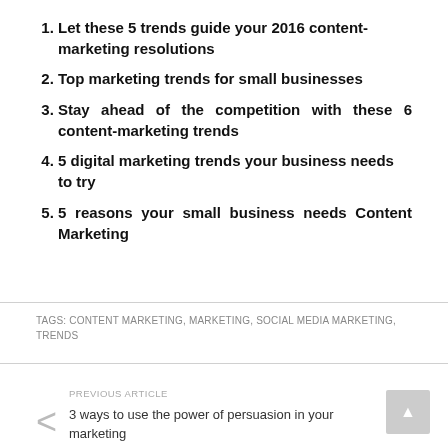Let these 5 trends guide your 2016 content-marketing resolutions
Top marketing trends for small businesses
Stay ahead of the competition with these 6 content-marketing trends
5 digital marketing trends your business needs to try
5 reasons your small business needs Content Marketing
TAGS: CONTENT MARKETING, MARKETING, SOCIAL MEDIA MARKETING, TRENDS
PREVIOUS ARTICLE
3 ways to use the power of persuasion in your marketing